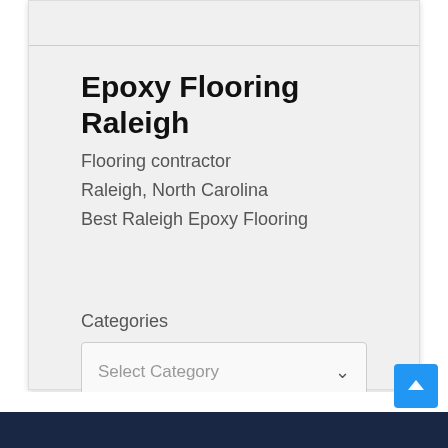Epoxy Flooring Raleigh
Flooring contractor
Raleigh, North Carolina
Best Raleigh Epoxy Flooring
Categories
Select Category